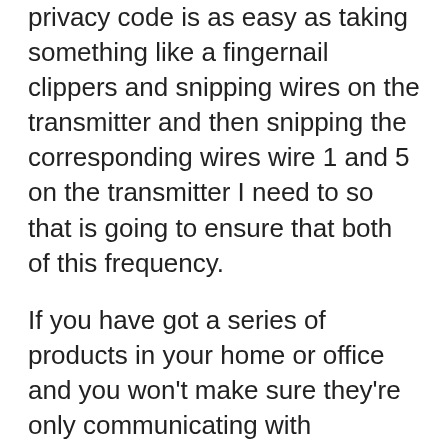privacy code is as easy as taking something like a fingernail clippers and snipping wires on the transmitter and then snipping the corresponding wires wire 1 and 5 on the transmitter I need to so that is going to ensure that both of this frequency.
If you have got a series of products in your home or office and you won't make sure they're only communicating with themselves. Then you would just match these privacy codes with one another. By default, these wires are not snipped, and obviously, once you snip the wires you cant go back. And so if you